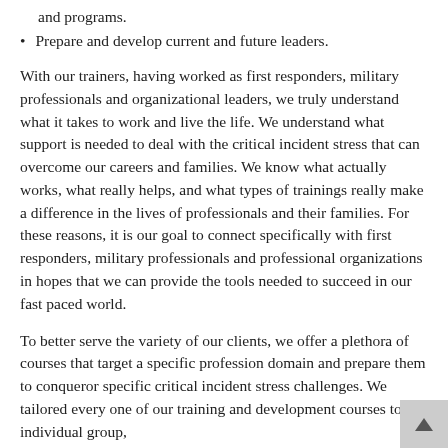and programs.
Prepare and develop current and future leaders.
With our trainers, having worked as first responders, military professionals and organizational leaders, we truly understand what it takes to work and live the life. We understand what support is needed to deal with the critical incident stress that can overcome our careers and families. We know what actually works, what really helps, and what types of trainings really make a difference in the lives of professionals and their families. For these reasons, it is our goal to connect specifically with first responders, military professionals and professional organizations in hopes that we can provide the tools needed to succeed in our fast paced world.
To better serve the variety of our clients, we offer a plethora of courses that target a specific profession domain and prepare them to conqueror specific critical incident stress challenges. We tailored every one of our training and development courses to the individual group,